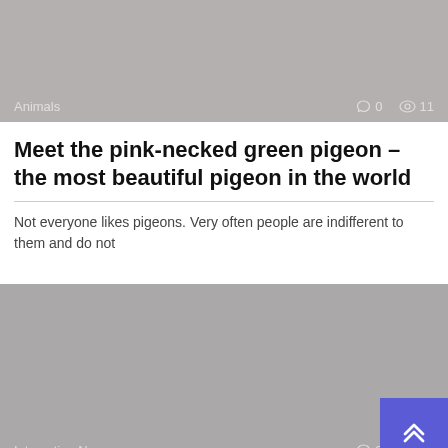[Figure (photo): Gray placeholder image for Animals article with category label and view/comment counts]
Meet the pink-necked green pigeon – the most beautiful pigeon in the world
Not everyone likes pigeons. Very often people are indifferent to them and do not
[Figure (photo): Gray placeholder image for Interesting News article with category label and view/comment counts]
73-year-old blind and deaf elephant is finally rescued and cries real tears